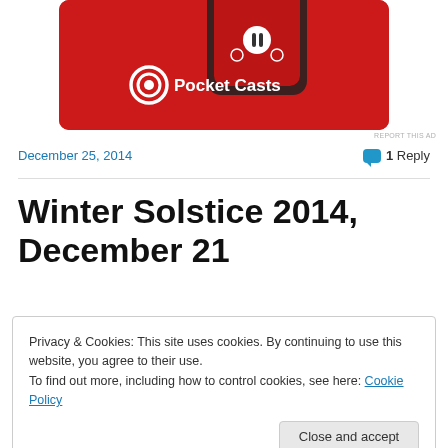[Figure (photo): Pocket Casts app advertisement showing a red smartphone with the app open and the Pocket Casts logo with text 'Pocket Casts' on a red background]
REPORT THIS AD
December 25, 2014
1 Reply
Winter Solstice 2014, December 21
Privacy & Cookies: This site uses cookies. By continuing to use this website, you agree to their use.
To find out more, including how to control cookies, see here: Cookie Policy
Close and accept